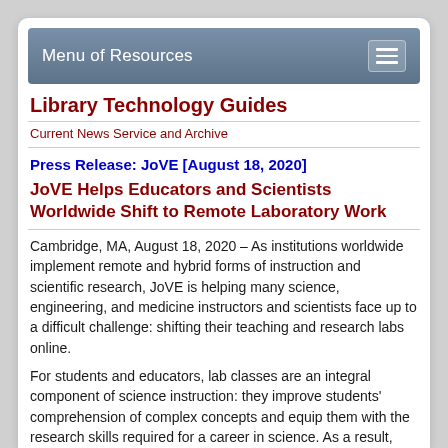Menu of Resources
Library Technology Guides
Current News Service and Archive
Press Release: JoVE [August 18, 2020]
JoVE Helps Educators and Scientists Worldwide Shift to Remote Laboratory Work
Cambridge, MA, August 18, 2020 – As institutions worldwide implement remote and hybrid forms of instruction and scientific research, JoVE is helping many science, engineering, and medicine instructors and scientists face up to a difficult challenge: shifting their teaching and research labs online.
For students and educators, lab classes are an integral component of science instruction: they improve students' comprehension of complex concepts and equip them with the research skills required for a career in science. As a result,